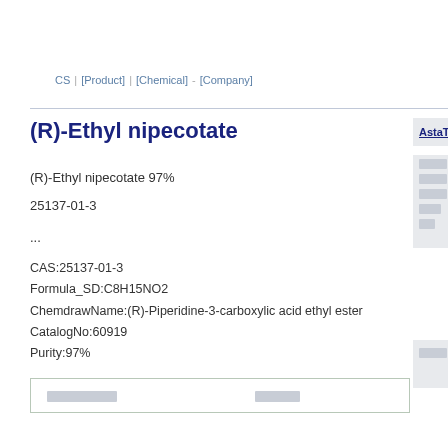CS  [Product]  [Chemical]  [Company]
(R)-Ethyl nipecotate
(R)-Ethyl nipecotate 97%
25137-01-3
...
CAS:25137-01-3
Formula_SD:C8H15NO2
ChemdrawName:(R)-Piperidine-3-carboxylic acid ethyl ester
CatalogNo:60919
Purity:97%
| [redacted] | [redacted] |
| --- | --- |
| [redacted] | [redacted] |